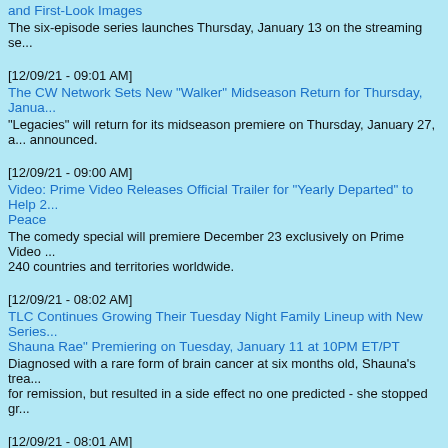and First-Look Images
The six-episode series launches Thursday, January 13 on the streaming se...
[12/09/21 - 09:01 AM]
The CW Network Sets New "Walker" Midseason Return for Thursday, Janua...
"Legacies" will return for its midseason premiere on Thursday, January 27, a... announced.
[12/09/21 - 09:00 AM]
Video: Prime Video Releases Official Trailer for "Yearly Departed" to Help 2... Peace
The comedy special will premiere December 23 exclusively on Prime Video ... 240 countries and territories worldwide.
[12/09/21 - 08:02 AM]
TLC Continues Growing Their Tuesday Night Family Lineup with New Series... Shauna Rae" Premiering on Tuesday, January 11 at 10PM ET/PT
Diagnosed with a rare form of brain cancer at six months old, Shauna's trea... for remission, but resulted in a side effect no one predicted - she stopped gr...
[12/09/21 - 08:01 AM]
Video: "Reno 911! The Hunt for QAnon" - Official Trailer - Paramount+
On a mission to track down the one and only Q, the one behind all QAnon c... "Reno 911! The Hunt for QAnon" follows the deputies from the Reno Sheriff'... as they get stuck at a QAnon convention at sea.
[12/09/21 - 08:01 AM]
Video: "Cobra Kai" Season 4 - Official Trailer - Netflix
Faced with a common enemy, Daniel and Johnny decide to start working to...